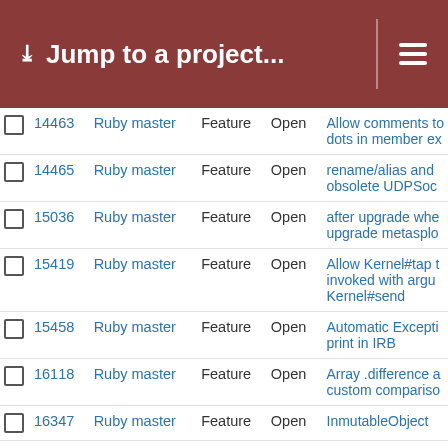Jump to a project...
|  | # | Project | Tracker | Status | Subject |
| --- | --- | --- | --- | --- | --- |
|  | 14463 | Ruby master | Feature | Open | Allow comments to dots in member ex |
|  | 14465 | Ruby master | Feature | Open | rename/alias and obsolete UDPSoc |
|  | 15036 | Ruby master | Feature | Open | after upgrade whe upgrade metasplo |
|  | 15419 | Ruby master | Feature | Open | Allow Kernel#tap t invoked with argu Kernel#send |
|  | 15458 | Ruby master | Feature | Open | Automatic Excepti print in IRB |
|  | 16118 | Ruby master | Feature | Open | Array .difference a custom compariso |
|  | 16347 | Ruby master | Feature | Open | InmutableObject |
|  | 16817 | Ruby master | Feature | Open | attr_predicate or a or attr_something methods |
|  | 18423 | Ruby master | Feature | Open | Installing stable ve 3.0.3 from source fatal error by make |
|  | 18332 | Ruby master | Feature | Open | a ? b |